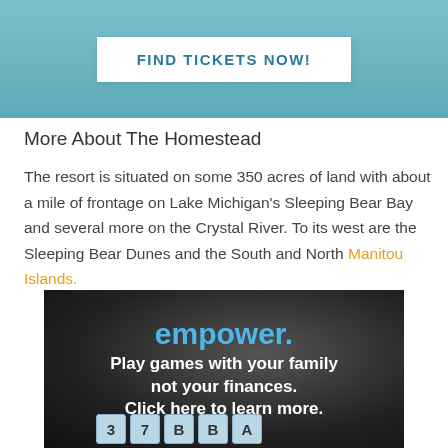[Figure (other): Teal/blue gradient banner with a white 'FIND TICKETS NOW!' button]
More About The Homestead
The resort is situated on some 350 acres of land with about a mile of frontage on Lake Michigan's Sleeping Bear Bay and several more on the Crystal River. To its west are the Sleeping Bear Dunes and the South and North Manitou Islands.
[Figure (illustration): Advertisement banner: dark background with Scrabble tiles. Text reads 'empower.' in blue, 'Play games with your family not your finances. Click here to learn more.' in white bold text.]